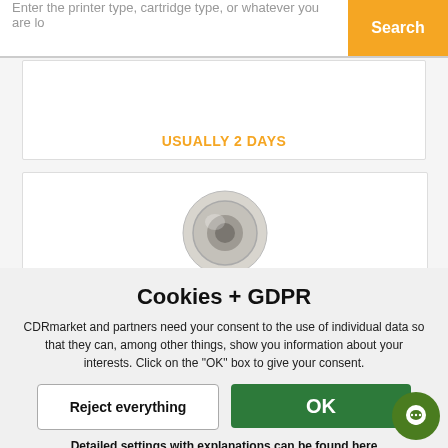Enter the printer type, cartridge type, or whatever you are lo    Search
USUALLY 2 DAYS
[Figure (photo): A white/silver roller bearing or drum component viewed from the front, partially visible at the bottom of the card.]
Cookies + GDPR
CDRmarket and partners need your consent to the use of individual data so that they can, among other things, show you information about your interests. Click on the "OK" box to give your consent.
Reject everything
OK
Detailed settings with explanations can be found here